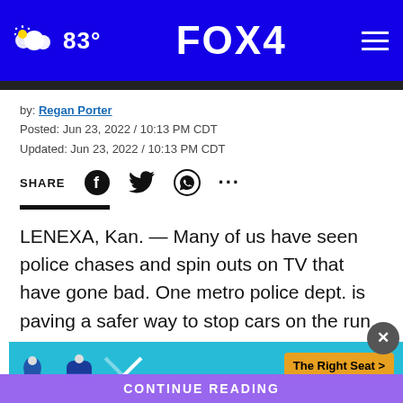83° FOX 4
by: Regan Porter
Posted: Jun 23, 2022 / 10:13 PM CDT
Updated: Jun 23, 2022 / 10:13 PM CDT
SHARE
LENEXA, Kan. — Many of us have seen police chases and spin outs on TV that have gone bad. One metro police dept. is paving a safer way to stop cars on the run.
The L… the Grapp…
CONTINUE READING